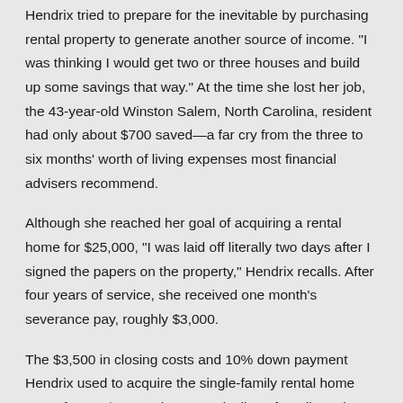Hendrix tried to prepare for the inevitable by purchasing rental property to generate another source of income. "I was thinking I would get two or three houses and build up some savings that way." At the time she lost her job, the 43-year-old Winston Salem, North Carolina, resident had only about $700 saved—a far cry from the three to six months' worth of living expenses most financial advisers recommend.
Although she reached her goal of acquiring a rental home for $25,000, "I was laid off literally two days after I signed the papers on the property," Hendrix recalls. After four years of service, she received one month's severance pay, roughly $3,000.
The $3,500 in closing costs and 10% down payment Hendrix used to acquire the single-family rental home came from a $15,000 home equity line of credit on the single-family home